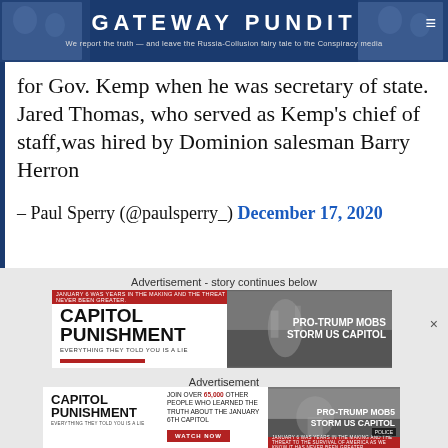GATEWAY PUNDIT — We report the truth — and leave the Russia-Collusion fairy tale to the Conspiracy media
for Gov. Kemp when he was secretary of state. Jared Thomas, who served as Kemp's chief of staff,was hired by Dominion salesman Barry Herron
– Paul Sperry (@paulsperry_) December 17, 2020
Advertisement - story continues below
[Figure (infographic): Capitol Punishment advertisement banner: 'CAPITOL PUNISHMENT - EVERYTHING THEY TOLD YOU IS A LIE' with image of PRO-TRUMP MOBS STORM US CAPITOL news headline]
Advertisement
[Figure (infographic): Capitol Punishment advertisement banner: 'CAPITOL PUNISHMENT' with text 'JOIN OVER 65,000 OTHER PEOPLE WHO LEARNED THE TRUTH ABOUT THE JANUARY 6TH CAPITOL' and WATCH NOW button, with PRO-TRUMP MOBS STORM US CAPITOL image and POLICE tag]